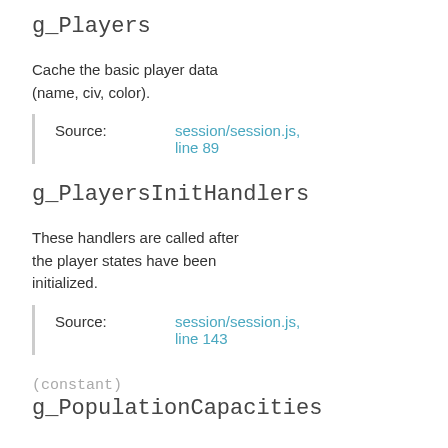g_Players
Cache the basic player data (name, civ, color).
Source: session/session.js, line 89
g_PlayersInitHandlers
These handlers are called after the player states have been initialized.
Source: session/session.js, line 143
(constant)
g_PopulationCapacities